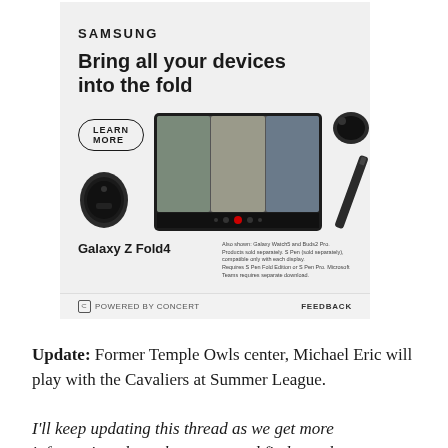[Figure (illustration): Samsung advertisement for Galaxy Z Fold4. Shows Samsung logo, headline 'Bring all your devices into the fold', a 'LEARN MORE' button, and product images of Galaxy Watch, Galaxy Z Fold4, earbuds, and stylus. Bottom shows 'Galaxy Z Fold4' branding and fine print. Powered by Concert / FEEDBACK bar at bottom.]
Update: Former Temple Owls center, Michael Eric will play with the Cavaliers at Summer League.
I'll keep updating this thread as we get more information about these guys and find out about more